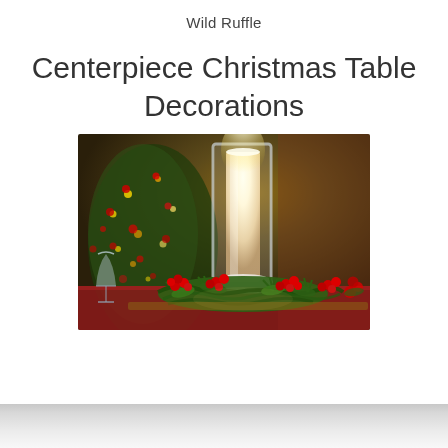Wild Ruffle
Centerpiece Christmas Table Decorations
[Figure (photo): A Christmas table centerpiece featuring a tall white pillar candle in a clear glass hurricane vase, surrounded by a wreath of evergreen branches and red holly berries. A decorated Christmas tree with red ornaments and warm lights is blurred in the background. The table features red linens and crystal glassware.]